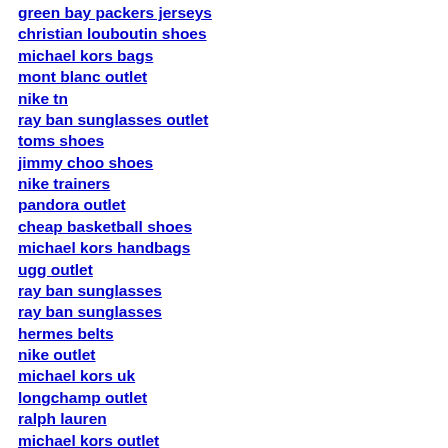green bay packers jerseys
christian louboutin shoes
michael kors bags
mont blanc outlet
nike tn
ray ban sunglasses outlet
toms shoes
jimmy choo shoes
nike trainers
pandora outlet
cheap basketball shoes
michael kors handbags
ugg outlet
ray ban sunglasses
ray ban sunglasses
hermes belts
nike outlet
michael kors uk
longchamp outlet
ralph lauren
michael kors outlet
moncler jackets
toms shoes
nike air force 1
louboutin shoes